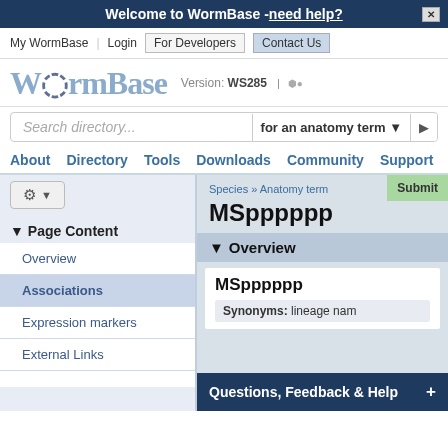Welcome to WormBase - need help?
My WormBase | Login | For Developers | Contact Us
[Figure (logo): WormBase logo with text 'WormBase' in light blue, Version: WS285, and alliance icon]
Search directory...  for an anatomy term
About  Directory  Tools  Downloads  Community  Support
Species » Anatomy term
MSpppppp
▼ Overview
▼ Page Content
Overview
Associations
Expression markers
External Links
MSpppppp
Synonyms:  lineage name... DR... 64...
Questions, Feedback & Help  +